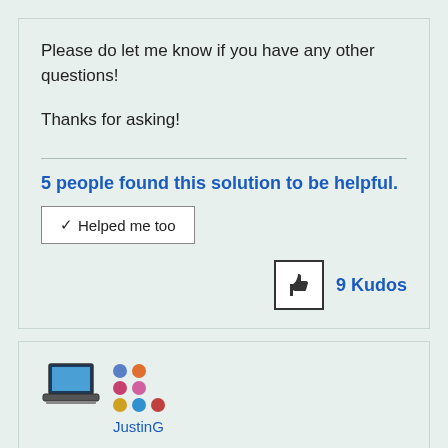Please do let me know if you have any other questions!
Thanks for asking!
5 people found this solution to be helpful.
✓ Helped me too
9 Kudos
[Figure (illustration): Laptop computer icon]
JustinG
SILVER CONTRIBUTOR V